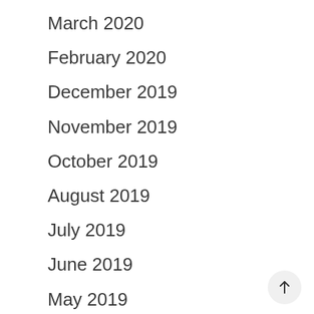March 2020
February 2020
December 2019
November 2019
October 2019
August 2019
July 2019
June 2019
May 2019
April 2019